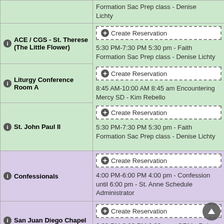| Room | Reservations |
| --- | --- |
| Formation Sac Prep class - Denise Lichty (continued) | Create Reservation | 5:30 PM-7:30 PM 5:30 pm - Faith Formation Sac Prep class - Denise Lichty |
| ACE / CGS - St. Therese (The Little Flower) | Create Reservation | 5:30 PM-7:30 PM 5:30 pm - Faith Formation Sac Prep class - Denise Lichty |
| Liturgy Conference Room A | Create Reservation | 8:45 AM-10:00 AM 8:45 am Encountering Mercy SD - Kim Rebello |
| St. John Paul II | Create Reservation | 5:30 PM-7:30 PM 5:30 pm - Faith Formation Sac Prep class - Denise Lichty |
| Confessionals | Create Reservation | 4:00 PM-6:00 PM 4:00 pm - Confession until 6:00 pm - St. Anne Schedule Administrator |
| San Juan Diego Chapel | Create Reservation | 6:30 PM-9:00 PM 6:30 pm - GRM - Robert Estes |
| Sanctuary | Create Reservation | 12:00 PM-1:00 PM 12:00 pm - English Mass - St. Anne Schedule Administrator |